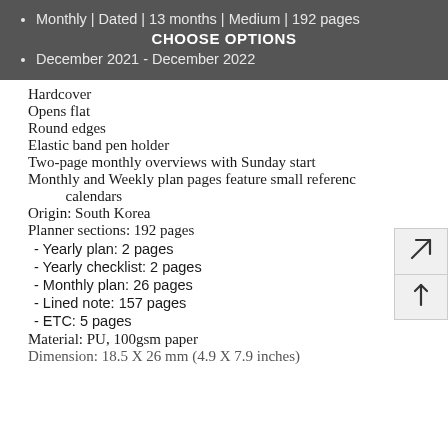Monthly | Dated | 13 months | Medium | 192 pages
CHOOSE OPTIONS
December 2021 - December 2022
Hardcover
Opens flat
Round edges
Elastic band pen holder
Two-page monthly overviews with Sunday start
Monthly and Weekly plan pages feature small reference calendars
Origin: South Korea
Planner sections: 192 pages
- Yearly plan: 2 pages
- Yearly checklist: 2 pages
- Monthly plan: 26 pages
- Lined note: 157 pages
- ETC: 5 pages
Material: PU, 100gsm paper
Dimension: 18.5 X 26 mm (4.9 X 7.9 inches)